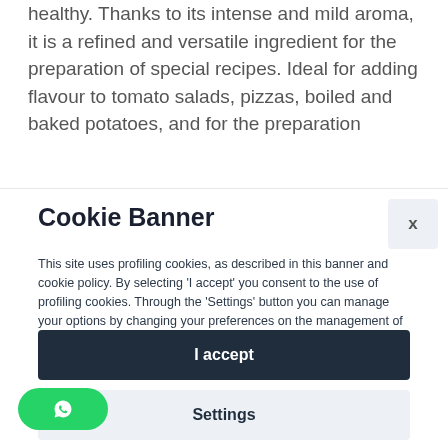healthy. Thanks to its intense and mild aroma, it is a refined and versatile ingredient for the preparation of special recipes. Ideal for adding flavour to tomato salads, pizzas, boiled and baked potatoes, and for the preparation
Cookie Banner
This site uses profiling cookies, as described in this banner and cookie policy. By selecting 'I accept' you consent to the use of profiling cookies. Through the 'Settings' button you can manage your options by changing your preferences on the management of profiling cookies.
For more information please read our cookie policy.
I accept
Settings